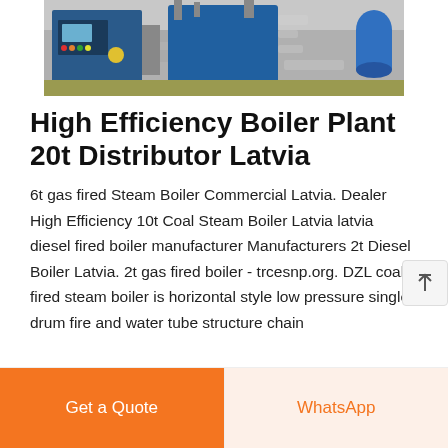[Figure (photo): Industrial boiler plant equipment showing blue boiler units with pipes and control panels in a factory/warehouse setting]
High Efficiency Boiler Plant 20t Distributor Latvia
6t gas fired Steam Boiler Commercial Latvia. Dealer High Efficiency 10t Coal Steam Boiler Latvia latvia diesel fired boiler manufacturer Manufacturers 2t Diesel Boiler Latvia. 2t gas fired boiler - trcesnp.org. DZL coal fired steam boiler is horizontal style low pressure single drum fire and water tube structure chain